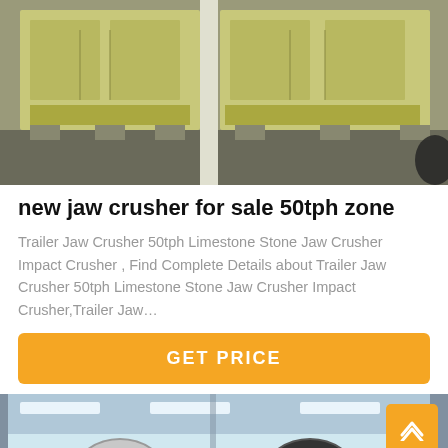[Figure (photo): Industrial jaw crusher machines on a factory floor, showing large yellow/green metal crusher units side by side in an industrial setting.]
new jaw crusher for sale 50tph zone
Trailer Jaw Crusher 50tph Limestone Stone Jaw Crusher Impact Crusher , Find Complete Details about Trailer Jaw Crusher 50tph Limestone Stone Jaw Crusher Impact Crusher,Trailer Jaw…
GET PRICE
[Figure (photo): Industrial machinery inside a large factory hall, featuring large red and black flywheel components on a jaw crusher assembly line, with steel framework and skylights visible.]
Leave Message
Chat Online